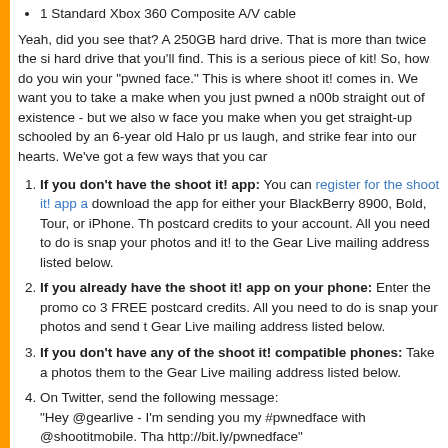1 Standard Xbox 360 Composite A/V cable
Yeah, did you see that? A 250GB hard drive. That is more than twice the si hard drive that you'll find. This is a serious piece of kit! So, how do you win your "pwned face." This is where shoot it! comes in. We want you to take a make when you just pwned a n00b straight out of existence - but we also w face you make when you get straight-up schooled by an 6-year old Halo pr us laugh, and strike fear into our hearts. We've got a few ways that you car
If you don't have the shoot it! app: You can register for the shoot it! app a download the app for either your BlackBerry 8900, Bold, Tour, or iPhone. Th postcard credits to your account. All you need to do is snap your photos and it! to the Gear Live mailing address listed below.
If you already have the shoot it! app on your phone: Enter the promo co 3 FREE postcard credits. All you need to do is snap your photos and send t Gear Live mailing address listed below.
If you don't have any of the shoot it! compatible phones: Take a photos them to the Gear Live mailing address listed below.
On Twitter, send the following message: "Hey @gearlive - I'm sending you my #pwnedface with @shootitmobile. Tha http://bit.ly/pwnedface" (Click here to tweet this now)
You should be following the Gear Live Twitter account. Be sure you put you Twitter handle that you used to enter in the message area so that when we g postcard, we can contact you if you win! We will be picking a winner on Mo You can enter as many times as you like, so if you wanna send us fifty diffe for it. The more, the merrier. Here's the address: